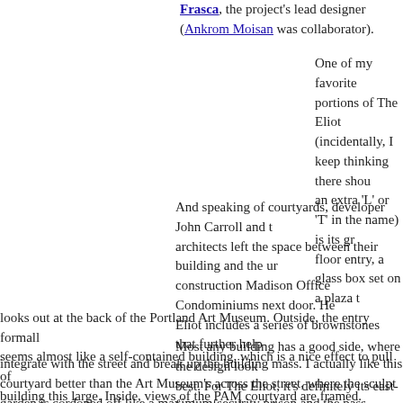Frasca, the project's lead designer (Ankrom Moisan was collaborator).
One of my favorite portions of The Eliot (incidentally, I keep thinking there should be an extra 'L' or 'T' in the name) is its ground floor entry, a glass box set on a plaza that looks out at the back of the Portland Art Museum. Outside, the entry formally seems almost like a self-contained building, which is a nice effect to pull off in a building this large. Inside, views of the PAM courtyard are framed.
And speaking of courtyards, developer John Carroll and the architects left the space between their building and the under-construction Madison Office Condominiums next door. Here, The Eliot includes a series of brownstones that further help integrate with the street and break up the building mass. I actually like this courtyard better than the Art Museum's across the street, where the sculpture garden is cordoned off like a maximum-security prison and the pass-through space a mere leftover. (And that's not even getting into the Jubitz Center's entry/exit on the courtyard that isn't an entry/exit.)
Most any building has a good side, where the design looks best. For The Eliot, it's definitely its east-facing facade, where Sandoval's team fashioned a beautiful glass wall with the help of star local contractor (and Freedom Tower supplier) Ro...